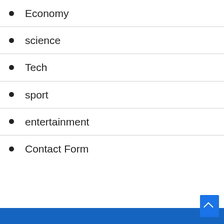Economy
science
Tech
sport
entertainment
Contact Form